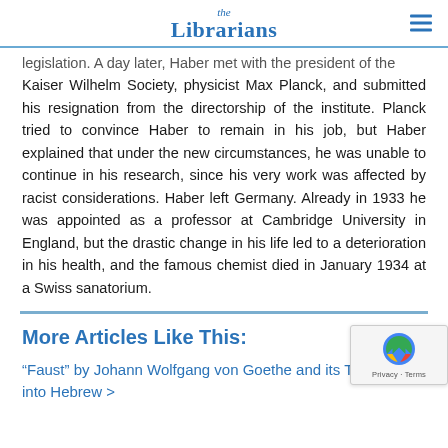the Librarians
legislation. A day later, Haber met with the president of the Kaiser Wilhelm Society, physicist Max Planck, and submitted his resignation from the directorship of the institute. Planck tried to convince Haber to remain in his job, but Haber explained that under the new circumstances, he was unable to continue in his research, since his very work was affected by racist considerations. Haber left Germany. Already in 1933 he was appointed as a professor at Cambridge University in England, but the drastic change in his life led to a deterioration in his health, and the famous chemist died in January 1934 at a Swiss sanatorium.
More Articles Like This:
“Faust” by Johann Wolfgang von Goethe and its Translation into Hebrew >